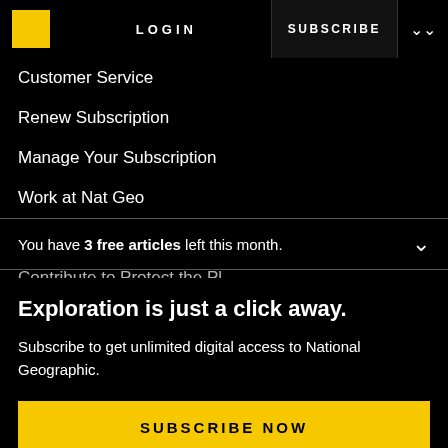LOGIN   SUBSCRIBE
Customer Service
Renew Subscription
Manage Your Subscription
Work at Nat Geo
Sign up for Our Newsletters
You have 3 free articles left this month.
Exploration is just a click away.
Subscribe to get unlimited digital access to National Geographic.
SUBSCRIBE NOW